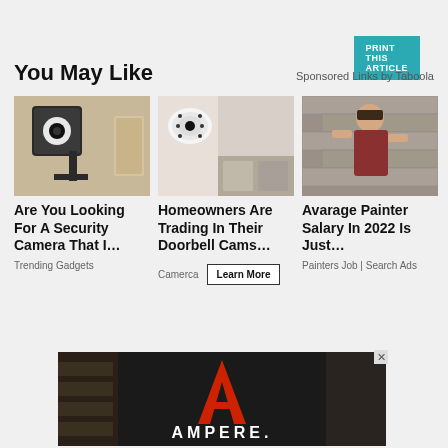PRINT THIS ARTICLE
You May Like
Sponsored Links by Taboola
[Figure (photo): White security camera mounted on a wall bracket]
[Figure (photo): White dome security camera close-up on wall]
[Figure (photo): Man in red shirt installing something on a brick wall]
Are You Looking For A Security Camera That I…
Trending Gadgets
Homeowners Are Trading In Their Doorbell Cams…
Camerca
Learn More
Avarage Painter Salary In 2022 Is Just…
Painters Job | Search Ads
[Figure (logo): Ampere logo - red triangle/arrow shape with AMPERE text on dark background]